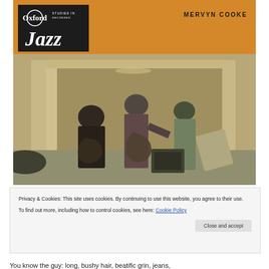[Figure (photo): Book cover for 'Oxford Studies in Recorded Jazz' by Mervyn Cooke. Features an orange/amber top banner with the Oxford Studies in Jazz logo (black square with white text) on the left, and 'MERVYN COOKE' in bold uppercase on the right. Below is a sepia-toned photograph of musicians playing guitars in what appears to be a garage or barn setting.]
Privacy & Cookies: This site uses cookies. By continuing to use this website, you agree to their use.
To find out more, including how to control cookies, see here: Cookie Policy
Close and accept
You know the guy: long, bushy hair, beatific grin, jeans,